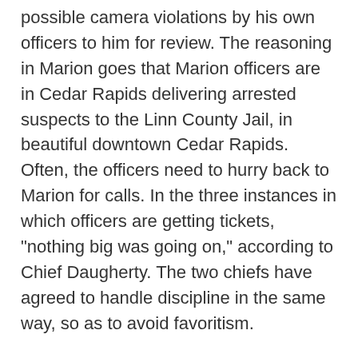possible camera violations by his own officers to him for review. The reasoning in Marion goes that Marion officers are in Cedar Rapids delivering arrested suspects to the Linn County Jail, in beautiful downtown Cedar Rapids. Often, the officers need to hurry back to Marion for calls. In the three instances in which officers are getting tickets, "nothing big was going on," according to Chief Daugherty. The two chiefs have agreed to handle discipline in the same way, so as to avoid favoritism.
According to Chief Daugherty, "If my people have a reason to be speeding, I will excuse them. On the other hand, if they don't have a reason, I won't. [Otherwise], I wouldn't be able to sleep at night if I didn't."
But that's not all.
The Gazette reports Chief Graham also has seven tickets issued to other Cedar Rapids city vehicles as of last